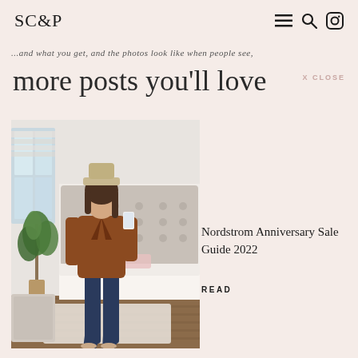SC&P
...and what you get, and the photos look like when people see,
more posts you'll love
X CLOSE
[Figure (photo): Woman in brown leather jacket, wide-brim beige hat, dark flare jeans and nude heels, taking a mirror selfie in a styled bedroom with a tufted headboard, fiddle leaf fig tree, and hardwood floors.]
Nordstrom Anniversary Sale Guide 2022
READ